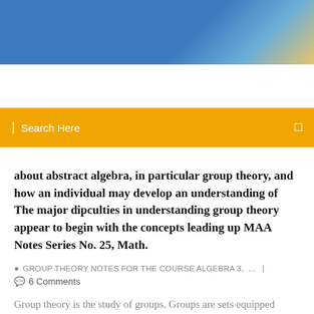[Figure (photo): Blue gradient website header banner with sky-like colors and a hint of gold at the right edge]
Search Here
about abstract algebra, in particular group theory, and how an individual may develop an understanding of The major dipculties in understanding group theory appear to begin with the concepts leading up MAA Notes Series No. 25, Math.
GROUP THEORY NOTES FOR THE COURSE ALGEBRA 3, ...   |
6 Comments
Group theory is the study of groups. Groups are sets equipped